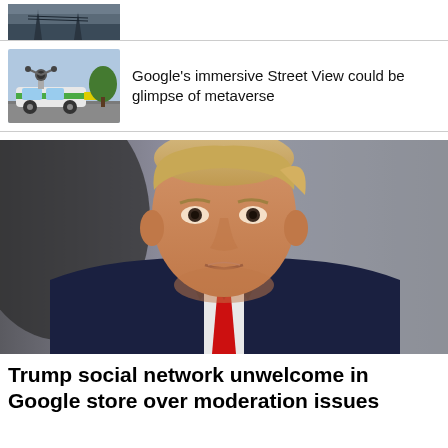[Figure (photo): Partial thumbnail of power lines or industrial infrastructure at top of page]
[Figure (photo): Google Street View car with camera rig on top, a small green and white car on a road]
Google's immersive Street View could be glimpse of metaverse
[Figure (photo): Portrait photo of Donald Trump wearing dark navy suit and red tie, looking directly at camera with serious expression, grey background]
Trump social network unwelcome in Google store over moderation issues